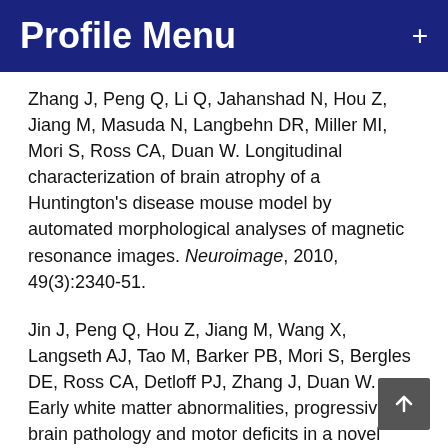Profile Menu
Zhang J, Peng Q, Li Q, Jahanshad N, Hou Z, Jiang M, Masuda N, Langbehn DR, Miller MI, Mori S, Ross CA, Duan W. Longitudinal characterization of brain atrophy of a Huntington’s disease mouse model by automated morphological analyses of magnetic resonance images. Neuroimage, 2010, 49(3):2340-51.
Jin J, Peng Q, Hou Z, Jiang M, Wang X, Langseth AJ, Tao M, Barker PB, Mori S, Bergles DE, Ross CA, Detloff PJ, Zhang J, Duan W. Early white matter abnormalities, progressive brain pathology and motor deficits in a novel knock-